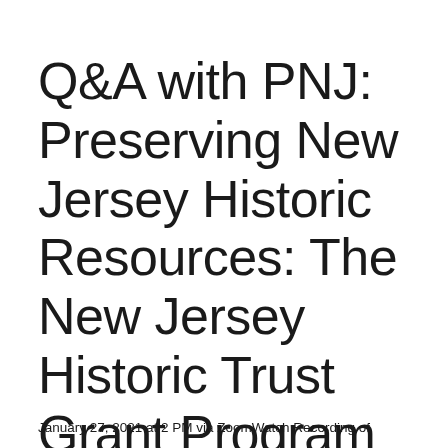Q&A with PNJ: Preserving New Jersey Historic Resources: The New Jersey Historic Trust Grant Program
January 27, 2021 at 2 PM via ZoomWatch Recording of